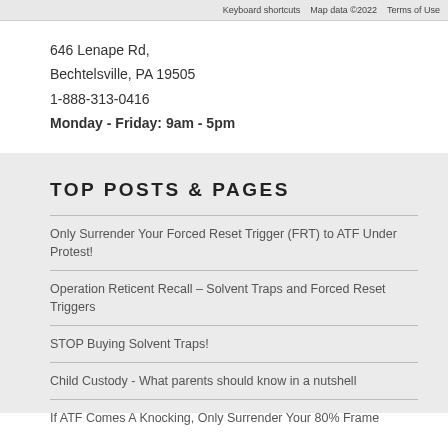[Figure (screenshot): Google Maps embed showing keyboard shortcuts bar with 'Keyboard shortcuts', 'Map data ©2022', and 'Terms of Use' labels]
646 Lenape Rd,
Bechtelsville, PA 19505
1-888-313-0416
Monday - Friday: 9am - 5pm
TOP POSTS & PAGES
Only Surrender Your Forced Reset Trigger (FRT) to ATF Under Protest!
Operation Reticent Recall – Solvent Traps and Forced Reset Triggers
STOP Buying Solvent Traps!
Child Custody - What parents should know in a nutshell
If ATF Comes A Knocking, Only Surrender Your 80% Frame